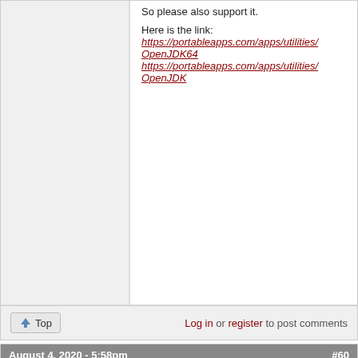So please also support it.

Here is the link:
https://portableapps.com/apps/utilities/OpenJDK64
https://portableapps.com/apps/utilities/OpenJDK
Log in or register to post comments
August 4, 2020 - 5:58pm #60
mwayne
Offline
Last seen: 2 hours 14 min ago
Joined: 2012-01-03 09:23
Updated Android Studio Portable to 4.0.1 DT1
Update base app
Log in or register to post comments